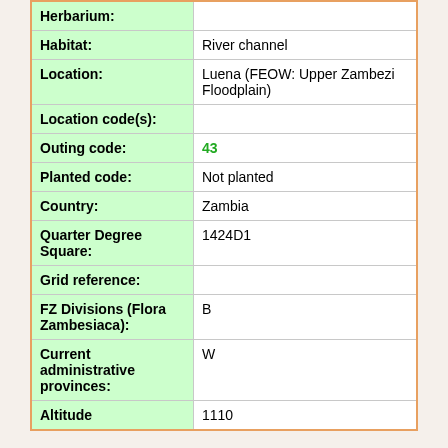| Field | Value |
| --- | --- |
| Herbarium: |  |
| Habitat: | River channel |
| Location: | Luena (FEOW: Upper Zambezi Floodplain) |
| Location code(s): |  |
| Outing code: | 43 |
| Planted code: | Not planted |
| Country: | Zambia |
| Quarter Degree Square: | 1424D1 |
| Grid reference: |  |
| FZ Divisions (Flora Zambesiaca): | B |
| Current administrative provinces: | W |
| Altitude | 1110 |